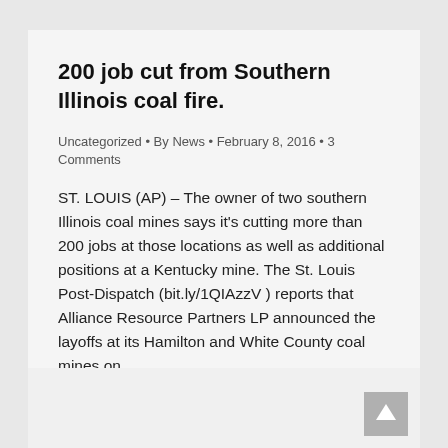200 job cut from Southern Illinois coal fire.
Uncategorized • By News • February 8, 2016 • 3 Comments
ST. LOUIS (AP) – The owner of two southern Illinois coal mines says it's cutting more than 200 jobs at those locations as well as additional positions at a Kentucky mine. The St. Louis Post-Dispatch (bit.ly/1QIAzzV ) reports that Alliance Resource Partners LP announced the layoffs at its Hamilton and White County coal mines on...
[Figure (other): Bottom card area with scroll-to-top button arrow]